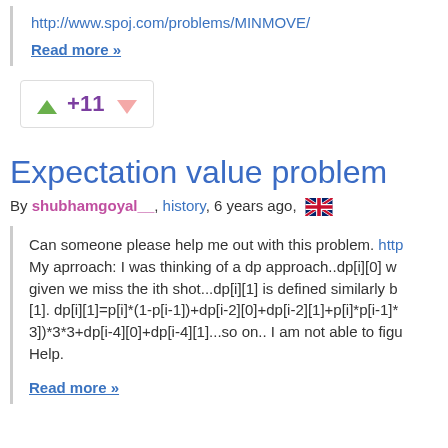http://www.spoj.com/problems/MINMOVE/
Read more »
+11
Expectation value problem
By shubhamgoyal__, history, 6 years ago, 🇬🇧
Can someone please help me out with this problem. http... My aprroach: I was thinking of a dp approach..dp[i][0] w... given we miss the ith shot...dp[i][1] is defined similarly b... [1]. dp[i][1]=p[i]*(1-p[i-1])+dp[i-2][0]+dp[i-2][1]+p[i]*p[i-1]* 3])*3*3+dp[i-4][0]+dp[i-4][1]...so on.. I am not able to figu... Help.
Read more »